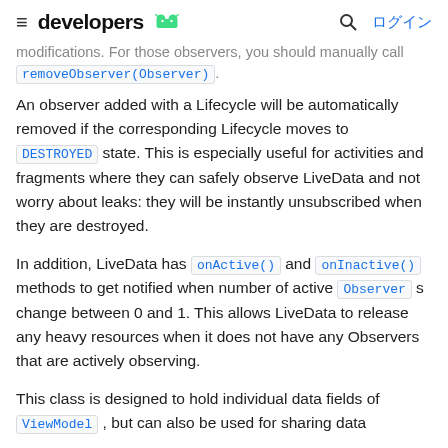developers [android logo] | [search] ログイン
modifications. For those observers, you should manually call removeObserver(Observer).
An observer added with a Lifecycle will be automatically removed if the corresponding Lifecycle moves to DESTROYED state. This is especially useful for activities and fragments where they can safely observe LiveData and not worry about leaks: they will be instantly unsubscribed when they are destroyed.
In addition, LiveData has onActive() and onInactive() methods to get notified when number of active Observer s change between 0 and 1. This allows LiveData to release any heavy resources when it does not have any Observers that are actively observing.
This class is designed to hold individual data fields of ViewModel , but can also be used for sharing data